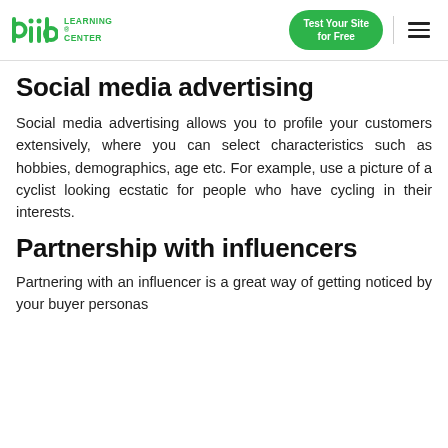diib LEARNING CENTER | Test Your Site for Free
Social media advertising
Social media advertising allows you to profile your customers extensively, where you can select characteristics such as hobbies, demographics, age etc. For example, use a picture of a cyclist looking ecstatic for people who have cycling in their interests.
Partnership with influencers
Partnering with an influencer is a great way of getting noticed by your buyer personas